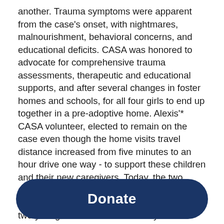another. Trauma symptoms were apparent from the case's onset, with nightmares, malnourishment, behavioral concerns, and educational deficits. CASA was honored to advocate for comprehensive trauma assessments, therapeutic and educational supports, and after several changes in foster homes and schools, for all four girls to end up together in a pre-adoptive home. Alexis'* CASA volunteer, elected to remain on the case even though the home visits travel distance increased from five minutes to an hour drive one way - to support these children and their new caregivers. Today, the two eldest children have been adopted, and CASA awaits the next hearing date where the two youngest children will officially be adopted into their supportive forever family. CASA has been integral for the familial well-being and reunification of these four
Donate